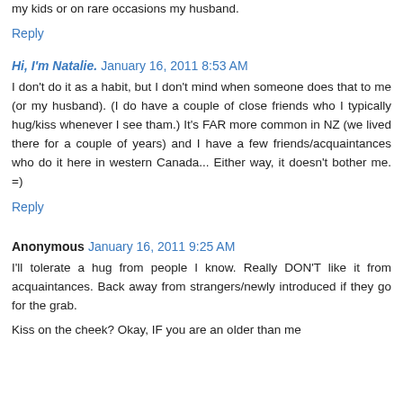my kids or on rare occasions my husband.
Reply
Hi, I'm Natalie.  January 16, 2011 8:53 AM
I don't do it as a habit, but I don't mind when someone does that to me (or my husband). (I do have a couple of close friends who I typically hug/kiss whenever I see tham.) It's FAR more common in NZ (we lived there for a couple of years) and I have a few friends/acquaintances who do it here in western Canada... Either way, it doesn't bother me. =)
Reply
Anonymous  January 16, 2011 9:25 AM
I'll tolerate a hug from people I know. Really DON'T like it from acquaintances. Back away from strangers/newly introduced if they go for the grab.
Kiss on the cheek? Okay, IF you are an older than me